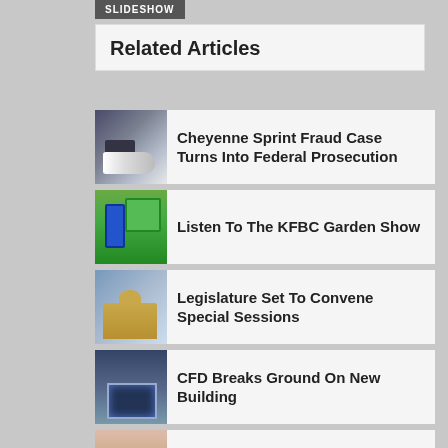[Figure (screenshot): SLIDESHOW button label]
Related Articles
Cheyenne Sprint Fraud Case Turns Into Federal Prosecution
Listen To The KFBC Garden Show
Legislature Set To Convene Special Sessions
CFD Breaks Ground On New Building
Game And Fish Urges Hunters To Avoid Common Violations